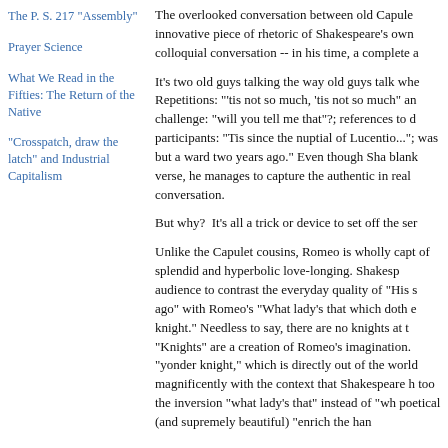The P. S. 217 "Assembly"
Prayer Science
What We Read in the Fifties: The Return of the Native
"Crosspatch, draw the latch" and Industrial Capitalism
The overlooked conversation between old Capule innovative piece of rhetoric of Shakespeare's own colloquial conversation -- in his time, a complete a
It's two old guys talking the way old guys talk whe Repetitions: "'tis not so much, 'tis not so much" an challenge: "will you tell me that"?; references to d participants: "Tis since the nuptial of Lucentio..."; was but a ward two years ago." Even though Sha blank verse, he manages to capture the authentic in real conversation.
But why? It's all a trick or device to set off the ser
Unlike the Capulet cousins, Romeo is wholly capt of splendid and hyperbolic love-longing. Shakesp audience to contrast the everyday quality of "His s ago" with Romeo's "What lady's that which doth e knight." Needless to say, there are no knights at t "Knights" are a creation of Romeo's imagination. "yonder knight," which is directly out of the world magnificently with the context that Shakespeare h too the inversion "what lady's that" instead of "wh poetical (and supremely beautiful) "enrich the han